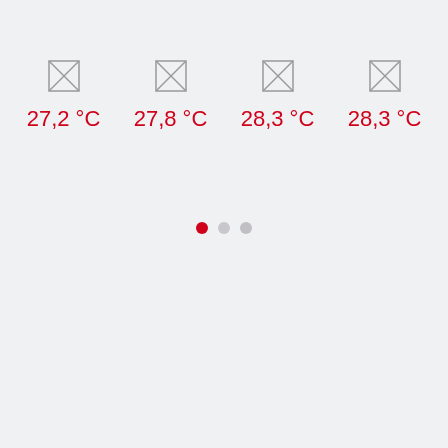[Figure (infographic): Four weather temperature readings displayed in a row, each with a broken image icon placeholder above and a red temperature value below. Values are 27,2 °C, 27,8 °C, 28,3 °C, 28,3 °C.]
[Figure (infographic): Pagination indicator with three dots: first dot is red (active), second and third dots are light grey (inactive).]